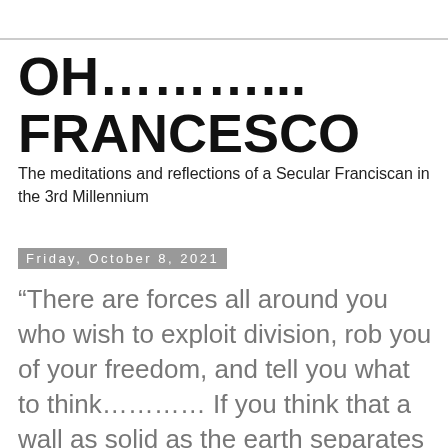OH………... FRANCESCO
The meditations and reflections of a Secular Franciscan in the 3rd Millennium
Friday, October 8, 2021
“There are forces all around you who wish to exploit division, rob you of your freedom, and tell you what to think………… If you think that a wall as solid as the earth separates civilization from barbarism you are sadly mistaken. I tell you the division is a thread, a sheet of glass. A touch here, a push there, and you bring back a reign of terror the likes history as seen